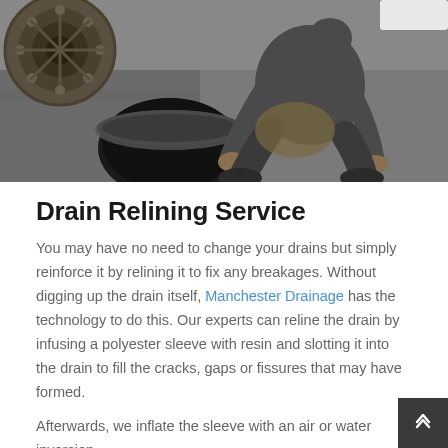[Figure (photo): A worker in work clothes crouching over an open manhole/drain access point on a street surface, with a large mechanical wheel/gear visible to the left and a drainage opening below.]
Drain Relining Service
You may have no need to change your drains but simply reinforce it by relining it to fix any breakages. Without digging up the drain itself, Manchester Drainage has the technology to do this. Our experts can reline the drain by infusing a polyester sleeve with resin and slotting it into the drain to fill the cracks, gaps or fissures that may have formed.
Afterwards, we inflate the sleeve with an air or water inversion technique. After the sleeve has hardened, which usually takes